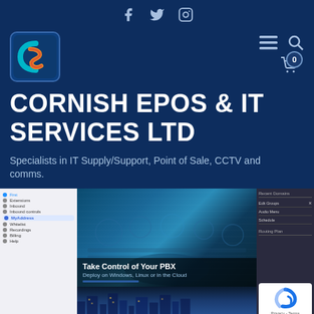Social icons: Facebook, Twitter, Instagram
[Figure (logo): Cornish EPOS & IT Services Ltd logo — stylized CS letters in teal/orange/red on dark blue square]
CORNISH EPOS & IT SERVICES LTD
Specialists in IT Supply/Support, Point of Sale, CCTV and comms.
[Figure (screenshot): Screenshot of a website showing a PBX software page with a cockpit background image, sidebar navigation, and a banner reading 'Take Control of Your PBX — Deploy on Windows, Linux or in the Cloud' with www.3cx.com label. Right panel shows settings UI. Captcha widget visible bottom right with Privacy - Terms text.]